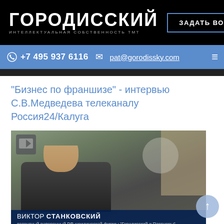ГОРОДИССКИЙ — ИНТЕЛЛЕКТУАЛЬНАЯ СОБСТВЕННОСТЬ ТМТ | ЗАДАТЬ ВОПРОС
+7 495 937 6116 | pat@gorodissky.com
"Бизнес по франшизе" - интервью С.В.Медведева телеканалу Россия24/Калуга
[Figure (screenshot): Video thumbnail showing a man in a suit being interviewed on a TV set. Lower third shows: ВИКТОР СТАНКОВСКИЙ, патентный поверенный РФ юридической фирмы 'Городисский и Партнеры']